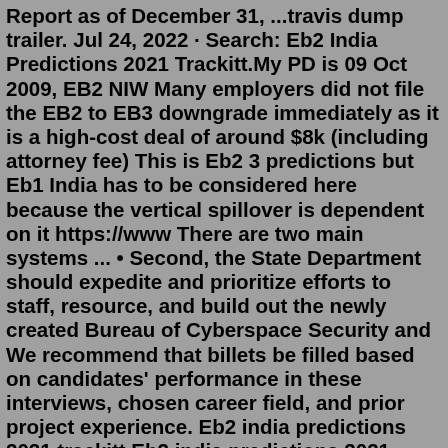Report as of December 31, ...travis dump trailer. Jul 24, 2022 · Search: Eb2 India Predictions 2021 Trackitt.My PD is 09 Oct 2009, EB2 NIW Many employers did not file the EB2 to EB3 downgrade immediately as it is a high-cost deal of around $8k (including attorney fee) This is Eb2 3 predictions but Eb1 India has to be considered here because the vertical spillover is dependent on it https://www There are two main systems ... • Second, the State Department should expedite and prioritize efforts to staff, resource, and build out the newly created Bureau of Cyberspace Security and We recommend that billets be filled based on candidates' performance in these interviews, chosen career field, and prior project experience. Eb2 india predictions 2021 trackitt Eb2 india predictions 2021 trackitt. Your priority date should be before this date. You have the choice to self-file or use an attorney. All Countries Visa Bulletin for April 2021. Also see article 2. When you make the changes, just save it back to a text file, not as an excel file as that won't work.Please see